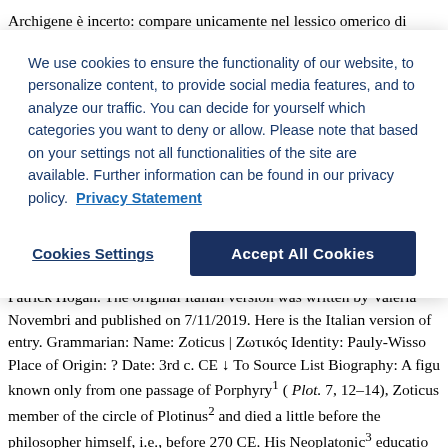Archigene è incerto: compare unicamente nel lessico omerico di Apollonio (123, 14 Bekker), ma gli editori settecenteschi hanno prop X- ...
We use cookies to ensure the functionality of our website, to personalize content, to provide social media features, and to analyze our traffic. You can decide for yourself which categories you want to deny or allow. Please note that based on your settings not all functionalities of the site are available. Further information can be found in our privacy policy. Privacy Statement
Cookies Settings
Accept All Cookies
Entry Version: This is the English version of this article translated Patrick Hogan. The original Italian version was written by Valeria Novembri and published on 7/11/2019. Here is the Italian version of entry. Grammarian: Name: Zoticus | Ζωτικός Identity: Pauly-Wisso Place of Origin: ? Date: 3rd c. CE ↓ To Source List Biography: A figu known only from one passage of Porphyry1 ( Plot. 7, 12–14), Zoticus member of the circle of Plotinus2 and died a little before the philosopher himself, i.e., before 270 CE. His Neoplatonic3 educatio reflected also in the works a...